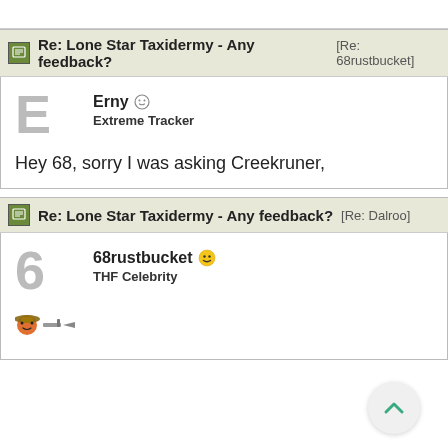Re: Lone Star Taxidermy - Any feedback? [Re: 68rustbucket]
Erny
Extreme Tracker
Hey 68, sorry I was asking Creekruner,
Re: Lone Star Taxidermy - Any feedback? [Re: Dalroo]
68rustbucket
THF Celebrity
[Figure (illustration): Two small emoji/emoticon icons]
[Figure (illustration): Scroll-to-top button with upward chevron arrow]